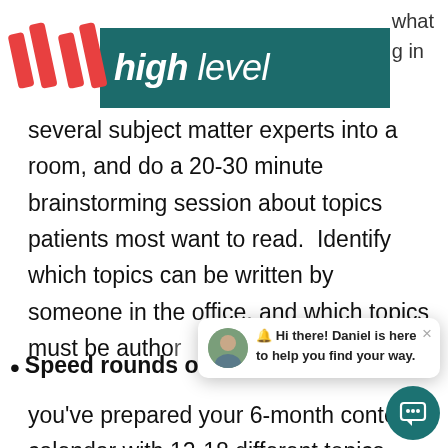GoHighLevel – high level
every... what you'r... g in several subject matter experts into a room, and do a 20-30 minute brainstorming session about topics patients most want to read.  Identify which topics can be written by someone in the office, and which topics must be author...
Speed rounds o... you've prepared your 6-month content calendar with 12-18 different topics, you should have assigned who will be
[Figure (screenshot): Chat widget popup showing avatar of Daniel with message: Hi there! Daniel is here to help you find your way. With a teal circular chat button in the bottom right corner.]